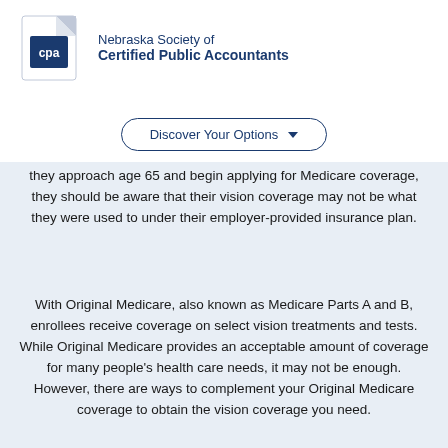[Figure (logo): Nebraska Society of Certified Public Accountants logo with CPA shield icon in blue and white]
Discover Your Options ▼
they approach age 65 and begin applying for Medicare coverage, they should be aware that their vision coverage may not be what they were used to under their employer-provided insurance plan.
With Original Medicare, also known as Medicare Parts A and B, enrollees receive coverage on select vision treatments and tests. While Original Medicare provides an acceptable amount of coverage for many people's health care needs, it may not be enough. However, there are ways to complement your Original Medicare coverage to obtain the vision coverage you need.